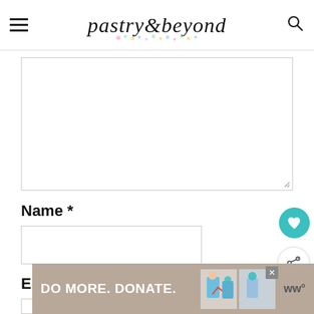pastry&beyond
[Figure (screenshot): Comment text area input box (empty), partially visible at top]
Name *
[Figure (screenshot): Name input field (empty text box)]
Email *
[Figure (screenshot): Email input field (empty text box)]
[Figure (infographic): WHAT'S NEXT arrow panel showing Homemade Condensed... with thumbnail]
[Figure (infographic): DO MORE. DONATE. advertisement banner with illustration and close button]